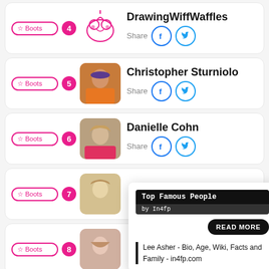[Figure (screenshot): Ranked list of famous people with Boots button, star badge, avatar, name, share buttons. Entry 4: DrawingWiffWaffles. Entry 5: Christopher Sturniolo. Entry 6: Danielle Cohn. Entry 7: (partial, blond male). Entry 8: (partial, blond female). Tooltip overlay showing 'Top Famous People by In4fp', READ MORE button, and link text 'Lee Asher - Bio, Age, Wiki, Facts and Family - in4fp.com'.]